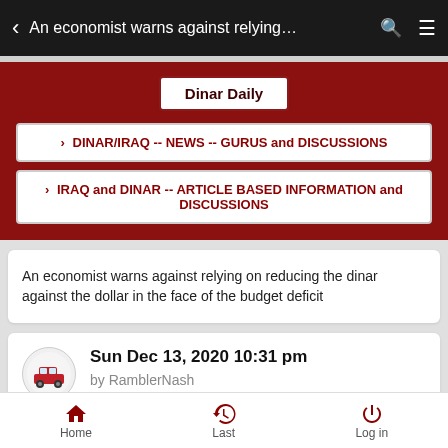< An economist warns against relying… 🔍 ≡
Dinar Daily
> DINAR/IRAQ -- NEWS -- GURUS and DISCUSSIONS
> IRAQ and DINAR -- ARTICLE BASED INFORMATION and DISCUSSIONS
An economist warns against relying on reducing the dinar against the dollar in the face of the budget deficit
Sun Dec 13, 2020 10:31 pm
by RamblerNash
Home   Last   Log in